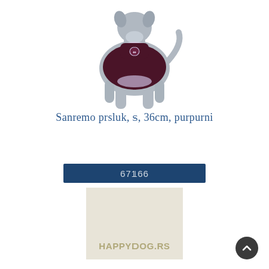[Figure (photo): A gray dog mannequin wearing a dark burgundy/purple dog vest (Sanremo prsluk) with lavender/pink trim around the neck and legs, photographed on white background.]
Sanremo prsluk, s, 36cm, purpurni
67166
[Figure (logo): HAPPYDOG.RS logo on a cream/beige background]
[Figure (other): Dark circular back-to-top button with an upward chevron arrow icon]